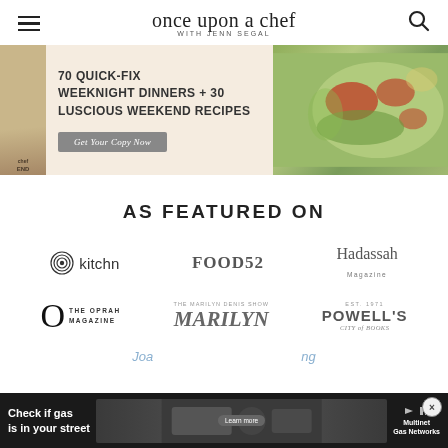once upon a chef WITH JENN SEGAL
[Figure (illustration): Promotional banner for cookbook: '70 QUICK-FIX WEEKNIGHT DINNERS + 30 LUSCIOUS WEEKEND RECIPES' with a 'Get Your Copy Now' button and food photography]
AS FEATURED ON
[Figure (logo): kitchn logo with concentric circle icon]
[Figure (logo): FOOD52 logo]
[Figure (logo): Hadassah Magazine logo]
[Figure (logo): O The Oprah Magazine logo]
[Figure (logo): The Marilyn Denis Show MARILYN logo]
[Figure (logo): Powell's City of Books EST. 1971 logo]
[Figure (screenshot): Advertisement bar: Check if gas is in your street - Learn more - Multinet Gas Networks]